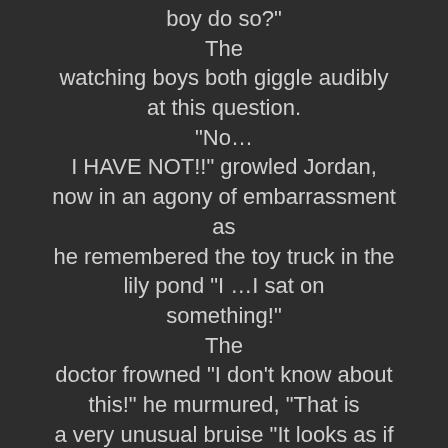boy do so?" The watching boys both giggle audibly at this question. "No… I HAVE NOT!!" growled Jordan, now in an agony of embarrassment as he remembered the toy truck in the lily pond "I …I sat on something!" The doctor frowned "I don't know about this!" he murmured, "That is a very unusual bruise "It looks as if a hard object has been inserted into your anus …. take a look at that Coach, don't you agree. The